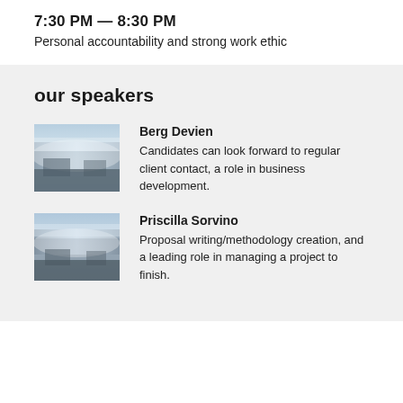7:30 PM — 8:30 PM
Personal accountability and strong work ethic
our speakers
Berg Devien
Candidates can look forward to regular client contact, a role in business development.
Priscilla Sorvino
Proposal writing/methodology creation, and a leading role in managing a project to finish.